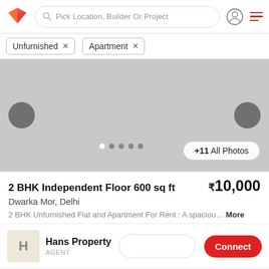Pick Location, Builder Or Project
Unfurnished ×
Apartment ×
[Figure (photo): Property image carousel showing a gray placeholder image with left/right navigation arrows, dots indicator, and '+11 All Photos' button]
2 BHK Independent Floor 600 sq ft  ₹10,000
Dwarka Mor, Delhi
2 BHK Unfurnished Flat and Apartment For Rent : A spaciou… More
Hans Property
AGENT
Connect
[Figure (photo): Bottom property card preview with heart icons]